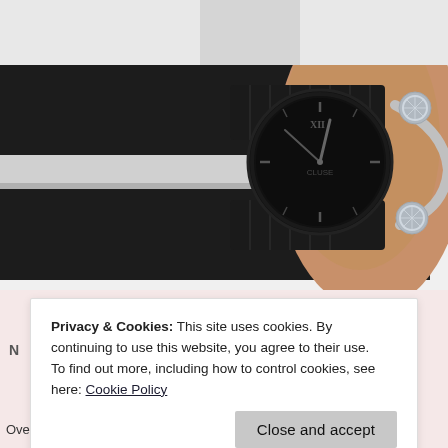[Figure (photo): A wrist wearing a black minimalist watch (appears to be a Cluse brand) with a mesh band, alongside a silver bracelet with two crystal-embellished ball charms. The arm is resting on a white surface and wearing a black sleeve with a white stripe.]
Privacy & Cookies: This site uses cookies. By continuing to use this website, you agree to their use.
To find out more, including how to control cookies, see here: Cookie Policy
Overall theme, there are a number of pieces that I really like. I